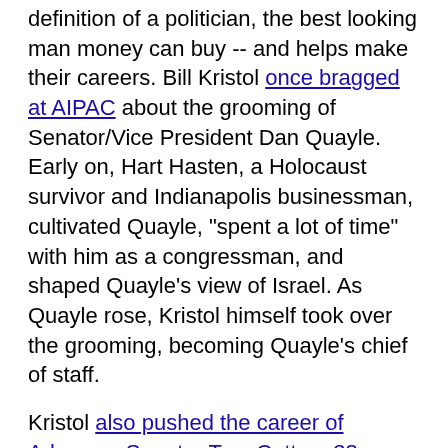definition of a politician, the best looking man money can buy -- and helps make their careers. Bill Kristol once bragged at AIPAC about the grooming of Senator/Vice President Dan Quayle. Early on, Hart Hasten, a Holocaust survivor and Indianapolis businessman, cultivated Quayle, "spent a lot of time" with him as a congressman, and shaped Quayle's view of Israel. As Quayle rose, Kristol himself took over the grooming, becoming Quayle's chief of staff.
Kristol also pushed the career of Arkansas Senator Tom Cotton, 38. Cotton spent just one term in the House before leaping to the Senate in 2014 with a $1 million campaign donation from the Emergency Committee for Israel, Kristol's organization. Washington Post columnist Jennifer Rubin hailed Cotton, saying that with Joe Lieberman leaving the Senate, "hawks" had fewer lawmakers "devoted to national security." Just what Rubio has devoted himself to.
Cotton was in office only a few weeks last